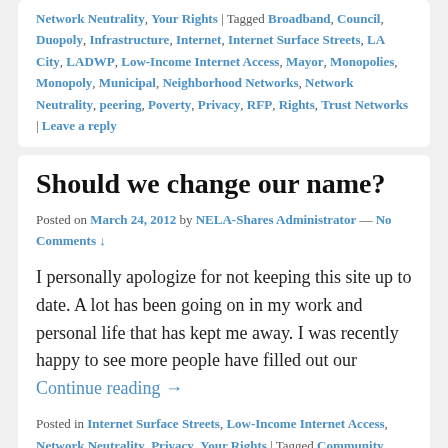Network Neutrality, Your Rights | Tagged Broadband, Council, Duopoly, Infrastructure, Internet, Internet Surface Streets, LA City, LADWP, Low-Income Internet Access, Mayor, Monopolies, Monopoly, Municipal, Neighborhood Networks, Network Neutrality, peering, Poverty, Privacy, RFP, Rights, Trust Networks | Leave a reply
Should we change our name?
Posted on March 24, 2012 by NELA-Shares Administrator — No Comments ↓
I personally apologize for not keeping this site up to date. A lot has been going on in my work and personal life that has kept me away. I was recently happy to see more people have filled out our Continue reading →
Posted in Internet Surface Streets, Low-Income Internet Access, Network Neutrality, Privacy, Your Rights | Tagged Community, Cooperation, Cooperative, Distribution, Duopoly, Exchanges, Infrastructure, Internet, Logistics, Monopolies, Name Change, Peer to Peer, Power, TimeBanking | Leave a reply